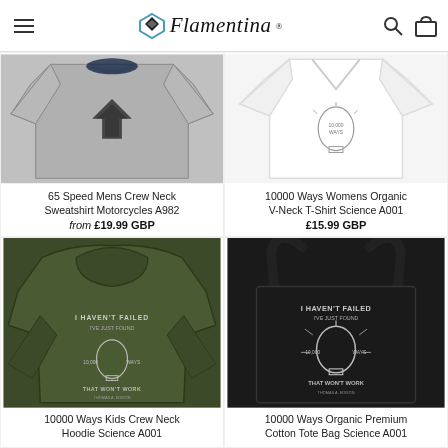Flamentina
[Figure (photo): Grey crew neck sweatshirt with geometric arrow logo]
65 Speed Mens Crew Neck Sweatshirt Motorcycles A982
from £19.99 GBP
[Figure (photo): Women's white V-neck t-shirt with 10000 Ways science design]
10000 Ways Womens Organic V-Neck T-Shirt Science A001
£15.99 GBP
[Figure (photo): Olive green hoodie with I Haven't Failed lightbulb design on back]
10000 Ways Kids Crew Neck Hoodie Science A001
[Figure (photo): Black organic cotton tote bag with I Haven't Failed lightbulb design]
10000 Ways Organic Premium Cotton Tote Bag Science A001